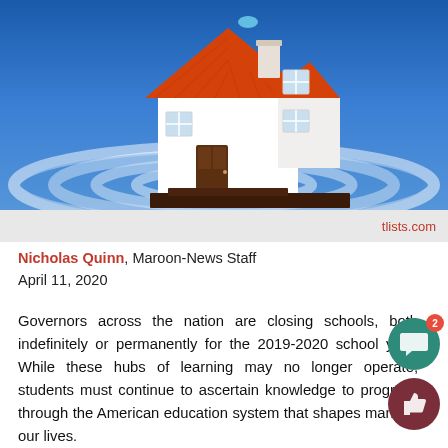[Figure (illustration): A 3D illustration of a white house with an orange/red tiled roof, brown foundation, sitting on concentric blue and white ripple rings, against a blue gradient background. A small blue WiFi-like dot appears above the chimney.]
tlists.com
Nicholas Quinn, Maroon-News Staff
April 11, 2020
Governors across the nation are closing schools, both indefinitely or permanently for the 2019-2020 school year. While these hubs of learning may no longer operate, students must continue to ascertain knowledge to progress through the American education system that shapes many of our lives.